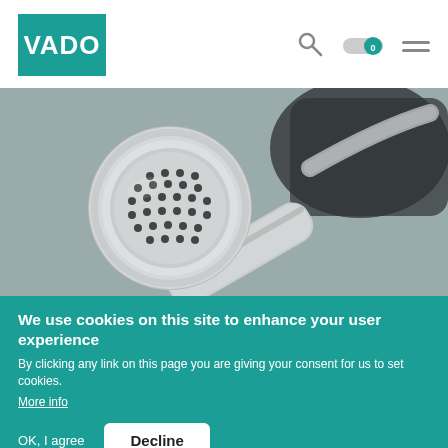[Figure (logo): VADO brand logo — white text on teal/green square background]
[Figure (photo): Close-up photo of a chrome handheld shower head with circular spray face dotted with holes, a flexible chrome hose, and a dark grey waffle-textured cloth in the background on a grey surface]
We use cookies on this site to enhance your user experience
By clicking any link on this page you are giving your consent for us to set cookies. More info
OK, I agree
Decline